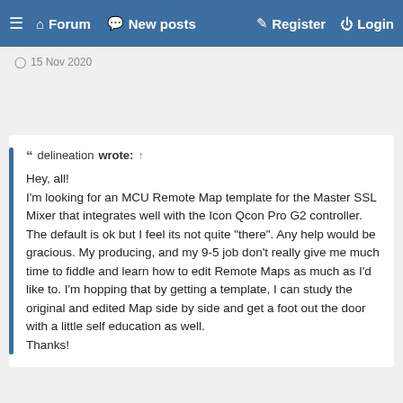≡  Forum  New posts  Register  Login
15 Nov 2020
delineation wrote: ↑
Hey, all!
I'm looking for an MCU Remote Map template for the Master SSL Mixer that integrates well with the Icon Qcon Pro G2 controller. The default is ok but I feel its not quite "there". Any help would be gracious. My producing, and my 9-5 job don't really give me much time to fiddle and learn how to edit Remote Maps as much as I'd like to. I'm hopping that by getting a template, I can study the original and edited Map side by side and get a foot out the door with a little self education as well.
Thanks!